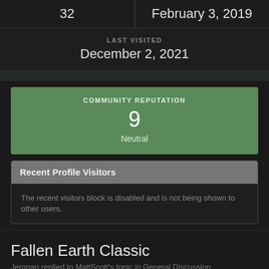| 32 | February 3, 2019 |
| --- | --- |
LAST VISITED
December 2, 2021
COMMUNITY REPUTATION
9
Neutral
Recent Profile Visitors
The recent visitors block is disabled and is not being shown to other users.
Fallen Earth Classic
Jeronan replied to MattScott's topic in General Discussion
So happy to be able to play this game again. Just wish